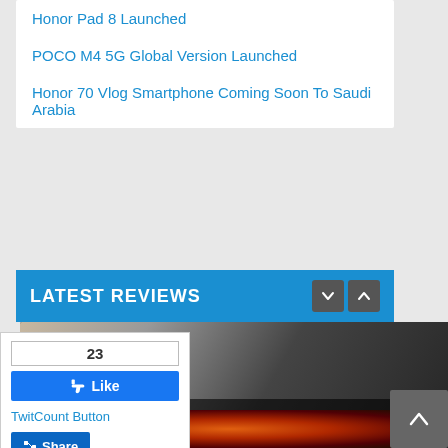Honor Pad 8 Launched
POCO M4 5G Global Version Launched
Honor 70 Vlog Smartphone Coming Soon To Saudi Arabia
LATEST REVIEWS
[Figure (photo): Smartwatches displayed showing watch face - WATCH FIT 2 vs Apple - Which One is Better? review card with date 2022 and undefined comments]
23
Like
TwitCount Button
Share
[Figure (photo): BenQ branded monitor or display with colorful abstract background, partial image shown]